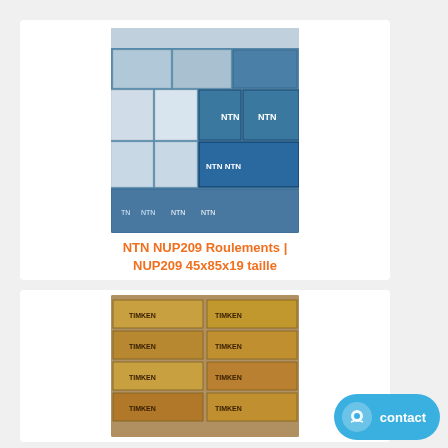[Figure (photo): Stacked blue NTN branded bearing boxes in a warehouse setting]
NTN NUP209 Roulements | NUP209 45x85x19 taille
[Figure (photo): Stacked orange/brown Timken branded boxes in a warehouse]
contact